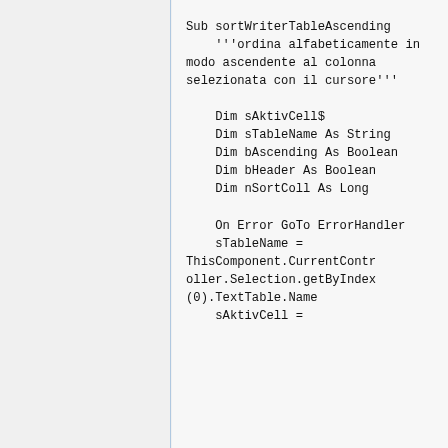Sub sortWriterTableAscending
    '''ordina alfabeticamente in modo ascendente al colonna selezionata con il cursore'''

    Dim sAktivCell$
    Dim sTableName As String
    Dim bAscending As Boolean
    Dim bHeader As Boolean
    Dim nSortColl As Long

    On Error GoTo ErrorHandler
    sTableName = ThisComponent.CurrentController.Selection.getByIndex(0).TextTable.Name
    sAktivCell =